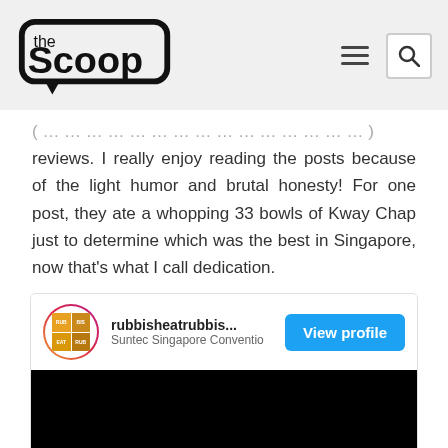the Scoop
reviews. I really enjoy reading the posts because of the light humor and brutal honesty! For one post, they ate a whopping 33 bowls of Kway Chap just to determine which was the best in Singapore, now that's what I call dedication.
[Figure (screenshot): Instagram embed card showing profile 'rubbisheatrubbis...' located at Suntec Singapore Conventio... with a View profile button and a dark image below]